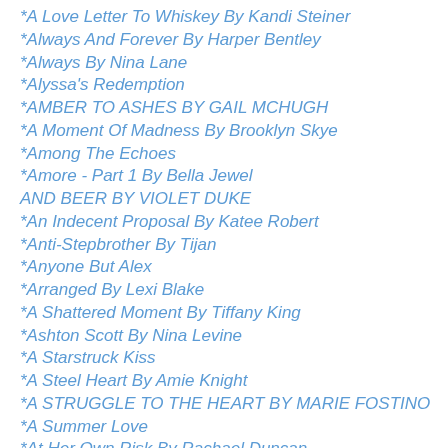*A Love Letter To Whiskey By Kandi Steiner
*Always And Forever By Harper Bentley
*Always By Nina Lane
*Alyssa's Redemption
*AMBER TO ASHES BY GAIL MCHUGH
*A Moment Of Madness By Brooklyn Skye
*Among The Echoes
*Amore - Part 1 By Bella Jewel
AND BEER BY VIOLET DUKE
*An Indecent Proposal By Katee Robert
*Anti-Stepbrother By Tijan
*Anyone But Alex
*Arranged By Lexi Blake
*A Shattered Moment By Tiffany King
*Ashton Scott By Nina Levine
*A Starstruck Kiss
*A Steel Heart By Amie Knight
*A STRUGGLE TO THE HEART BY MARIE FOSTINO
*A Summer Love
*At Her Own Risk By Rachael Duncan
*A Thousand Letters By Staci Hart
*At The Stars By Elisabeth Staab